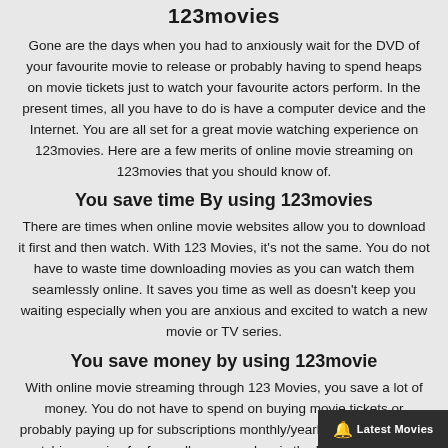123movies
Gone are the days when you had to anxiously wait for the DVD of your favourite movie to release or probably having to spend heaps on movie tickets just to watch your favourite actors perform. In the present times, all you have to do is have a computer device and the Internet. You are all set for a great movie watching experience on 123movies. Here are a few merits of online movie streaming on 123movies that you should know of.
You save time By using 123movies
There are times when online movie websites allow you to download it first and then watch. With 123 Movies, it's not the same. You do not have to waste time downloading movies as you can watch them seamlessly online. It saves you time as well as doesn't keep you waiting especially when you are anxious and excited to watch a new movie or TV series.
You save money by using 123movie
With online movie streaming through 123 Movies, you save a lot of money. You do not have to spend on buying movie tickets or probably paying up for subscriptions monthly/yearly. While you enjoy watching movies for free, all you spend on is the Internet which is a necessity that cannot be ignored.